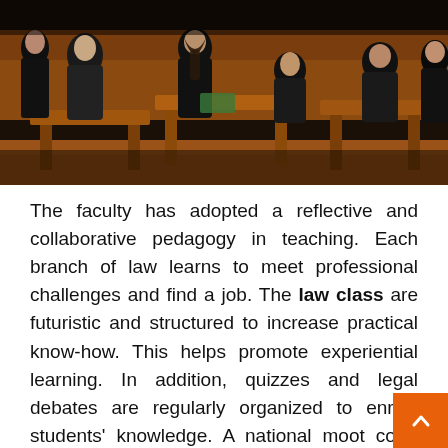[Figure (photo): A courtroom scene with several people in black suits and formal attire, seated and standing around wooden courtroom furniture. Appears to be a moot court or law class setting.]
The faculty has adopted a reflective and collaborative pedagogy in teaching. Each branch of law learns to meet professional challenges and find a job. The law class are futuristic and structured to increase practical know-how. This helps promote experiential learning. In addition, quizzes and legal debates are regularly organized to enrich students' knowledge. A national moot court competition is held each year, involving